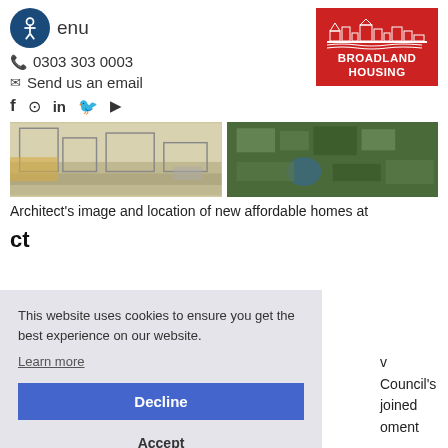[Figure (logo): Accessibility icon (circle with person figure) and menu text]
[Figure (logo): Broadland Housing logo - red background with white building silhouette and text BROADLAND HOUSING]
0303 303 0003
Send us an email
[Figure (illustration): Architect's sketch of street scene with buildings]
[Figure (photo): Aerial satellite view of housing area]
Architect's image and location of new affordable homes at
This website uses cookies to ensure you get the best experience on our website.
Learn more
Decline
Accept
Cookie Preferences
ct
v Council's joined oment
Director at Broadland Housing Association, at a